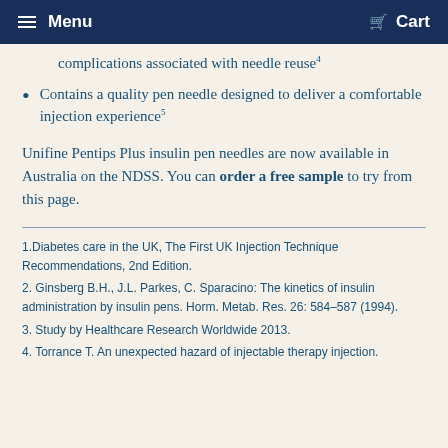Menu  Cart
complications associated with needle reuse4
Contains a quality pen needle designed to deliver a comfortable injection experience5
Unifine Pentips Plus insulin pen needles are now available in Australia on the NDSS. You can order a free sample to try from this page.
1.Diabetes care in the UK, The First UK Injection Technique Recommendations, 2nd Edition.
2. Ginsberg B.H., J.L. Parkes, C. Sparacino: The kinetics of insulin administration by insulin pens. Horm. Metab. Res. 26: 584-587 (1994).
3. Study by Healthcare Research Worldwide 2013.
4. Torrance T. An unexpected hazard of injectable therapy injection.